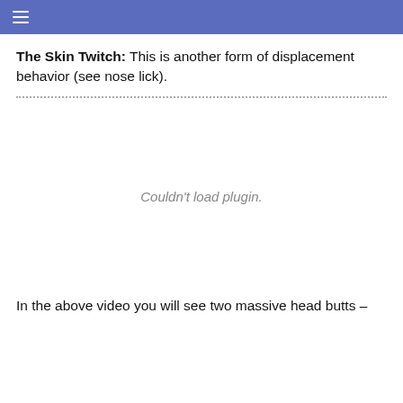☰
The Skin Twitch: This is another form of displacement behavior (see nose lick).
[Figure (other): Embedded video plugin area showing 'Couldn't load plugin.' message]
In the above video you will see two massive head butts –